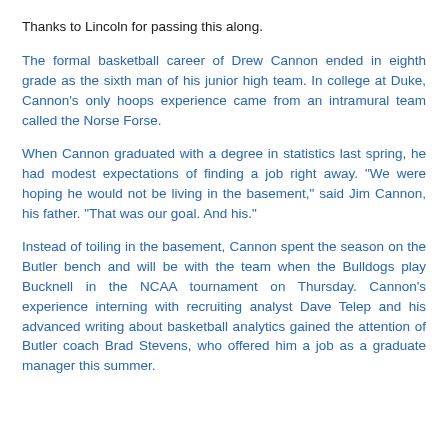Thanks to Lincoln for passing this along.
The formal basketball career of Drew Cannon ended in eighth grade as the sixth man of his junior high team. In college at Duke, Cannon's only hoops experience came from an intramural team called the Norse Forse.
When Cannon graduated with a degree in statistics last spring, he had modest expectations of finding a job right away. "We were hoping he would not be living in the basement," said Jim Cannon, his father. "That was our goal. And his."
Instead of toiling in the basement, Cannon spent the season on the Butler bench and will be with the team when the Bulldogs play Bucknell in the NCAA tournament on Thursday. Cannon's experience interning with recruiting analyst Dave Telep and his advanced writing about basketball analytics gained the attention of Butler coach Brad Stevens, who offered him a job as a graduate manager this summer.